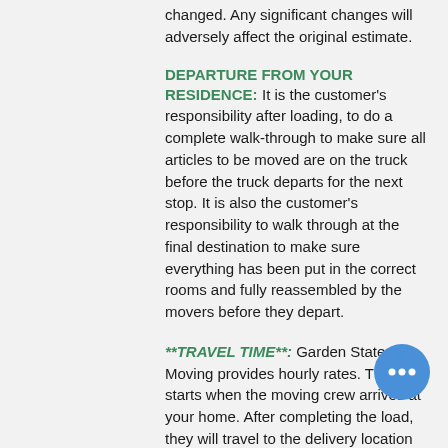changed. Any significant changes will adversely affect the original estimate.
DEPARTURE FROM YOUR RESIDENCE:
It is the customer's responsibility after loading, to do a complete walk-through to make sure all articles to be moved are on the truck before the truck departs for the next stop. It is also the customer's responsibility to walk through at the final destination to make sure everything has been put in the correct rooms and fully reassembled by the movers before they depart.
**TRAVEL TIME**:
Garden State Moving provides hourly rates. The time starts when the moving crew arrives at your home. After completing the load, they will travel to the delivery location and